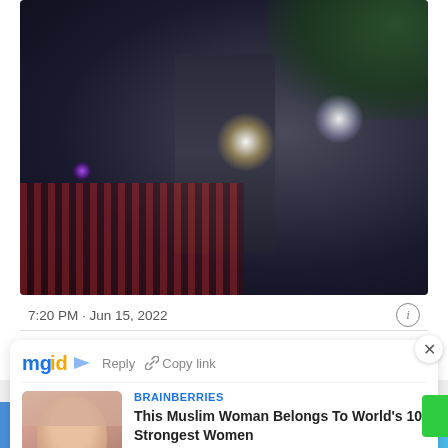[Figure (photo): Night scene with a person with hands raised, lit by bright spotlights, police/security in background, red fence visible on left]
7:20 PM · Jun 15, 2022
[Figure (screenshot): MGID advertisement overlay with Reply and Copy link buttons, close X button, showing a Brainberries ad: 'This Muslim Woman Belongs To World's 10 Strongest Women' with photo of woman in hijab]
BRAINBERRIES
This Muslim Woman Belongs To World's 10 Strongest Women
based on the information of, but is the blog of the individe...